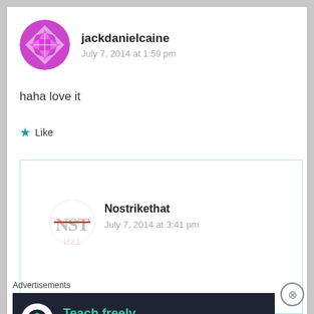jackdanielcaine
July 7, 2014 at 1:59 pm
haha love it
★ Like
Nostrikethat
July 7, 2014 at 3:41 pm
Advertisements
Teach freely Make money selling online courses.